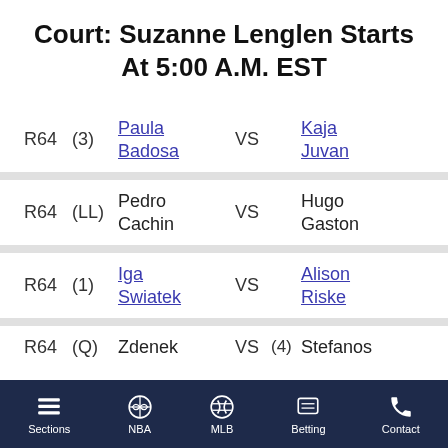Court: Suzanne Lenglen Starts At 5:00 A.M. EST
| Round | Seed | Player 1 | VS | Seed | Player 2 |
| --- | --- | --- | --- | --- | --- |
| R64 | (3) | Paula Badosa | VS |  | Kaja Juvan |
| R64 | (LL) | Pedro Cachin | VS |  | Hugo Gaston |
| R64 | (1) | Iga Swiatek | VS |  | Alison Riske |
| R64 | (Q) | Zdenek | VS | (4) | Stefanos |
Sections | NBA | MLB | Betting | Contact